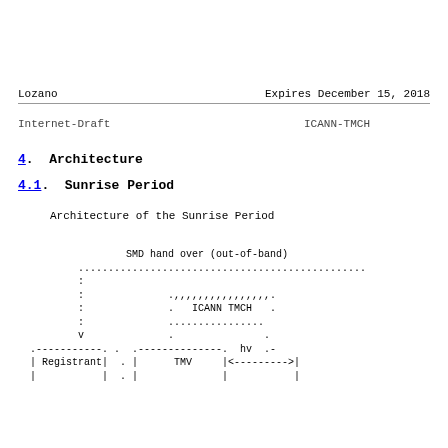Lozano                          Expires December 15, 2018
Internet-Draft                          ICANN-TMCH
4.  Architecture
4.1.  Sunrise Period
Architecture of the Sunrise Period
[Figure (schematic): Architecture diagram showing SMD hand over (out-of-band) with dotted lines connecting Registrant, ICANN TMCH box, TMV box with hv label and arrow. Diagram shows dotted flow lines between components with vertical colon lines and arrow indicators.]